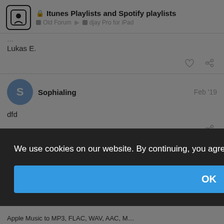Itunes Playlists and Spotify playlists | Old Forum > djay Pro for iPad
Lukas E.
Sophialing  Feb '19
dfd
Feb '19
We use cookies on our website. By continuing, you agree to this.  Learn more
OK
king all er
Apple Music to MP3, FLAC, WAV, AAC, M…